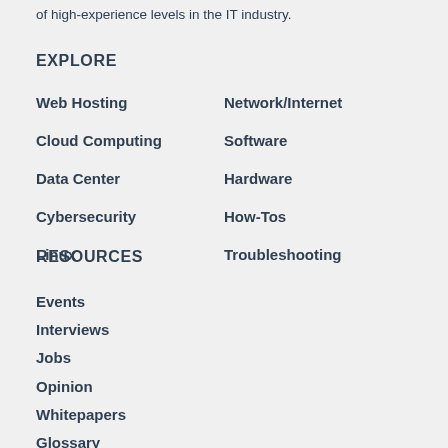of high-experience levels in the IT industry.
EXPLORE
Web Hosting
Network/Internet
Cloud Computing
Software
Data Center
Hardware
Cybersecurity
How-Tos
Linux
Troubleshooting
RESOURCES
Events
Interviews
Jobs
Opinion
Whitepapers
Glossary
Community Forum